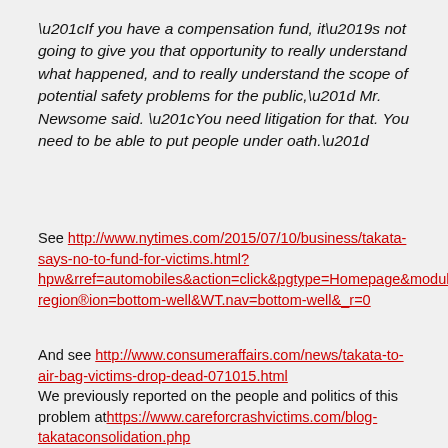“If you have a compensation fund, it’s not going to give you that opportunity to really understand what happened, and to really understand the scope of potential safety problems for the public,” Mr. Newsome said. “You need litigation for that. You need to be able to put people under oath.”
See http://www.nytimes.com/2015/07/10/business/takata-says-no-to-fund-for-victims.html?hpw&rref=automobiles&action=click&pgtype=Homepage&module=well-region&region=bottom-well&WT.nav=bottom-well&_r=0
And see http://www.consumeraffairs.com/news/takata-to-air-bag-victims-drop-dead-071015.html We previously reported on the people and politics of this problem at https://www.careforcrashvictims.com/blog-takataconsolidation.php